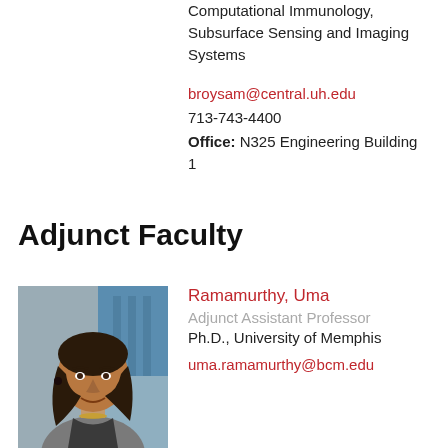Computational Immunology, Subsurface Sensing and Imaging Systems
broysam@central.uh.edu
713-743-4400
Office: N325 Engineering Building 1
Adjunct Faculty
[Figure (photo): Headshot photo of Ramamurthy, Uma]
Ramamurthy, Uma
Adjunct Assistant Professor
Ph.D., University of Memphis
uma.ramamurthy@bcm.edu